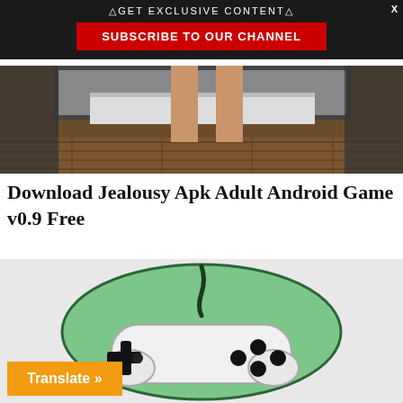△GET EXCLUSIVE CONTENT△
SUBSCRIBE TO OUR CHANNEL
[Figure (photo): Cropped photo showing person's legs standing in a room with wooden floor and furniture in background]
Download Jealousy Apk Adult Android Game v0.9 Free
[Figure (illustration): Illustrated game controller icon on green circular background]
Translate »